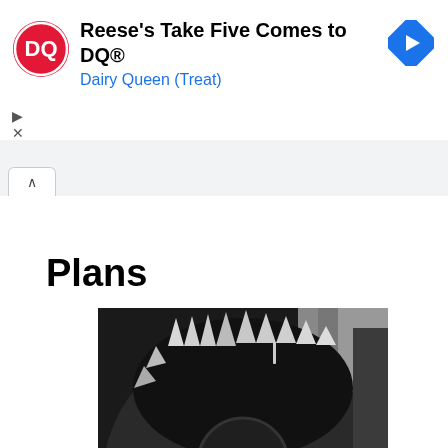[Figure (infographic): Dairy Queen advertisement banner with DQ logo, text 'Reese's Take Five Comes to DQ®' and 'Dairy Queen (Treat)', and a blue navigation arrow icon]
[Figure (screenshot): Browser tab UI element showing a tab with an up chevron/caret symbol]
Plans
[Figure (photo): Black and white close-up photograph of a circular saw blade showing the serrated teeth silhouetted against a light background]